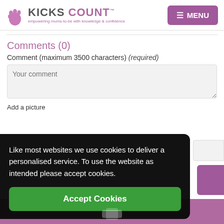[Figure (logo): Kicks Count logo with foot icon and tagline 'empowering mums-to-be with knowledge & confidence']
Comments (0)
Comment (maximum 3500 characters) (required)
Your comment
Add a picture
Like most websites we use cookies to deliver a personalised service. To use the website as intended please accept cookies.
Accept Cookies